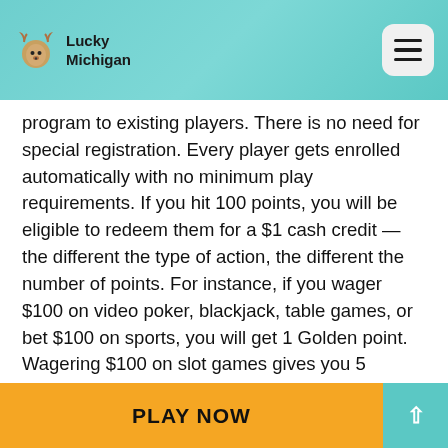Lucky Michigan
program to existing players. There is no need for special registration. Every player gets enrolled automatically with no minimum play requirements. If you hit 100 points, you will be eligible to redeem them for a $1 cash credit — the different the type of action, the different the number of points. For instance, if you wager $100 on video poker, blackjack, table games, or bet $100 on sports, you will get 1 Golden point. Wagering $100 on slot games gives you 5 Golden points. Moreover, points can be acquired by making deposits too. If $50-$99 gets added to your account, you get 20 points, whereas $100 and more brings you 40 points.
PLAY NOW